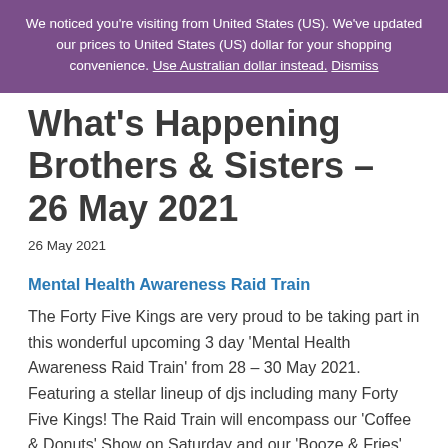We noticed you're visiting from United States (US). We've updated our prices to United States (US) dollar for your shopping convenience. Use Australian dollar instead. Dismiss
What's Happening Brothers & Sisters – 26 May 2021
26 May 2021
Mental Health Awareness Raid Train
The Forty Five Kings are very proud to be taking part in this wonderful upcoming 3 day 'Mental Health Awareness Raid Train' from 28 – 30 May 2021. Featuring a stellar lineup of djs including many Forty Five Kings! The Raid Train will encompass our 'Coffee & Donuts' Show on Saturday and our 'Booze ＆ Fries' Show on Sunday as well as the...